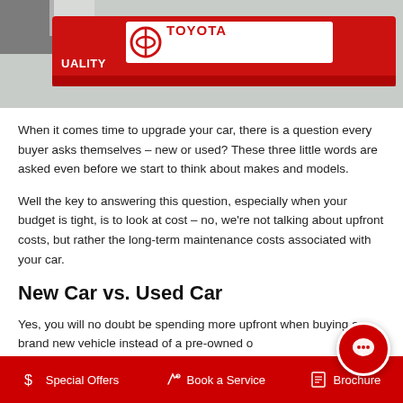[Figure (photo): Toyota Quality Service red banner/cover on a car]
When it comes time to upgrade your car, there is a question every buyer asks themselves – new or used? These three little words are asked even before we start to think about makes and models.
Well the key to answering this question, especially when your budget is tight, is to look at cost – no, we're not talking about upfront costs, but rather the long-term maintenance costs associated with your car.
New Car vs. Used Car
Yes, you will no doubt be spending more upfront when buying a brand new vehicle instead of a pre-owned o...
$ Special Offers    Book a Service    Brochure...